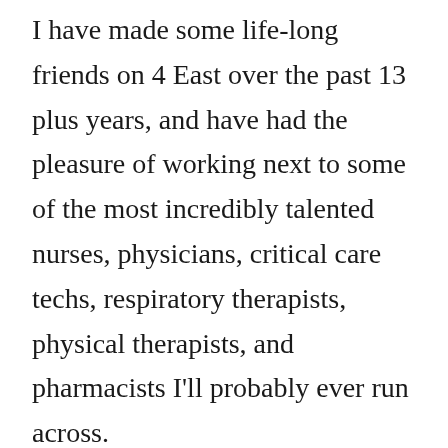I have made some life-long friends on 4 East over the past 13 plus years, and have had the pleasure of working next to some of the most incredibly talented nurses, physicians, critical care techs, respiratory therapists, physical therapists, and pharmacists I'll probably ever run across.
I have laughed and cried really hard too many times to count on 4 East.  I don't believe I've ever worked any other place where we are together so much that we feel like family.  Some of you have helped get me through some of the toughest times in my life.  I've watched many of you get married